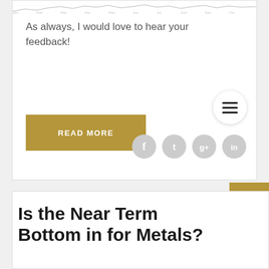[Figure (continuous-plot): Faint financial chart strip at top of card]
As always, I would love to hear your feedback!
[Figure (other): Hamburger menu icon inside white circle]
[Figure (other): Gold READ MORE button]
[Figure (other): Social media icons: Facebook, Twitter, Google+, LinkedIn]
[Figure (other): Gold TOP button with upward arrow]
Is the Near Term Bottom in for Metals?